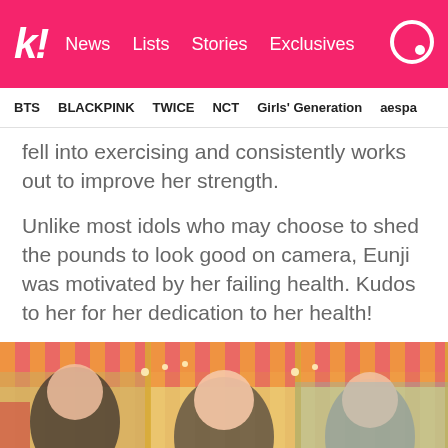k! News  Lists  Stories  Exclusives
BTS  BLACKPINK  TWICE  NCT  Girls' Generation  aespa
fell into exercising and consistently works out to improve her strength.
Unlike most idols who may choose to shed the pounds to look good on camera, Eunji was motivated by her failing health. Kudos to her for her dedication to her health!
[Figure (photo): K-pop girl group members posing at a carnival/carousel setting with colorful decorations, striped awnings in red, yellow, and orange.]